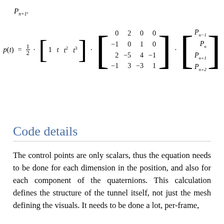P_{n+1}.
Code details
The control points are only scalars, thus the equation needs to be done for each dimension in the position, and also for each component of the quaternions. This calculation defines the structure of the tunnel itself, not just the mesh defining the visuals. It needs to be done a lot, per-frame,